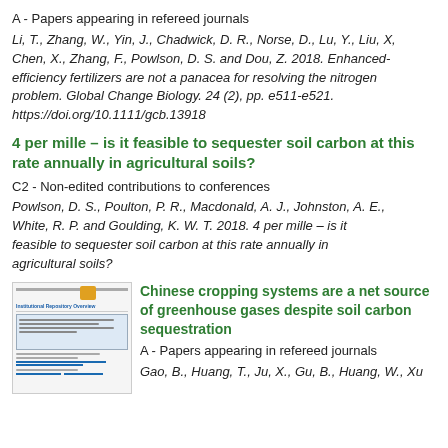A - Papers appearing in refereed journals
Li, T., Zhang, W., Yin, J., Chadwick, D. R., Norse, D., Lu, Y., Liu, X., Chen, X., Zhang, F., Powlson, D. S. and Dou, Z. 2018. Enhanced-efficiency fertilizers are not a panacea for resolving the nitrogen problem. Global Change Biology. 24 (2), pp. e511-e521. https://doi.org/10.1111/gcb.13918
4 per mille – is it feasible to sequester soil carbon at this rate annually in agricultural soils?
C2 - Non-edited contributions to conferences
Powlson, D. S., Poulton, P. R., Macdonald, A. J., Johnston, A. E., White, R. P. and Goulding, K. W. T. 2018. 4 per mille – is it feasible to sequester soil carbon at this rate annually in agricultural soils?
[Figure (screenshot): Thumbnail screenshot of a repository document overview page]
Chinese cropping systems are a net source of greenhouse gases despite soil carbon sequestration
A - Papers appearing in refereed journals
Gao, B., Huang, T., Ju, X., Gu, B., Huang, W., Xu